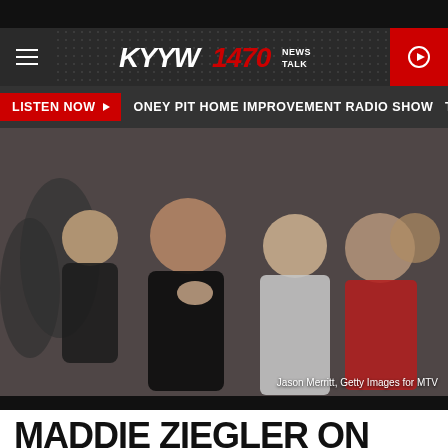[Figure (screenshot): KYYW 1470 News Talk radio station website screenshot showing navigation bar with hamburger menu, station logo, and play button]
LISTEN NOW  ONEY PIT HOME IMPROVEMENT RADIO SHOW  TH
[Figure (photo): Two women smiling and posing together at what appears to be an MTV event. One woman in black dress, one younger girl in white sparkly dress. Photo credit: Jason Merritt, Getty Images for MTV]
Jason Merritt, Getty Images for MTV
MADDIE ZIEGLER ON 'DANCE